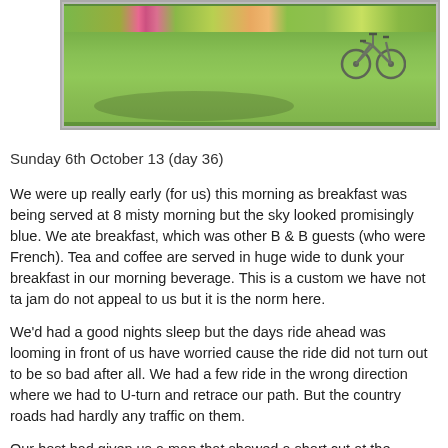[Figure (photo): Photograph of a garden with green lawn, flowering plants/shrubs along the back, and a bicycle visible on the right side. The image is partially cropped and bordered.]
Sunday 6th October 13 (day 36)
We were up really early (for us) this morning as breakfast was being served at 8 misty morning but the sky looked promisingly blue. We ate breakfast, which was other B & B guests (who were French). Tea and coffee are served in huge wide to dunk your breakfast in our morning beverage. This is a custom we have not ta jam do not appeal to us but it is the norm here.
We'd had a good nights sleep but the days ride ahead was looming in front of us have worried cause the ride did not turn out to be so bad after all. We had a few ride in the wrong direction where we had to U-turn and retrace our path. But the country roads had hardly any traffic on them.
Our host had given us a map that showed a short cut at the beginning of our trip kinder on us as it was a flatter road. We left the B & B with a waving send off by us luck. It was 10.30am when we rode out of St-Liger de Vignague and by 12.30 Dropt, after pedalling the back roads through St-Martin de-Lerm and Camiran. A